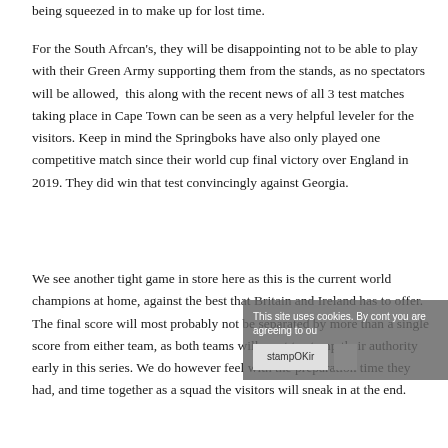being squeezed in to make up for lost time.
For the South Afrcan's, they will be disappointing not to be able to play with their Green Army supporting them from the stands, as no spectators will be allowed,  this along with the recent news of all 3 test matches taking place in Cape Town can be seen as a very helpful leveler for the visitors. Keep in mind the Springboks have also only played one competitive match since their world cup final victory over England in 2019. They did win that test convincingly against Georgia.
We see another tight game in store here as this is the current world champions at home, against the best that Britain and Ireland has to offer. The final score will most probably not be separated by more than a single score from either team, as both teams will want to stamp their authority early in this series. We do however feel with the preparation time they had, and time together as a squad the visitors will sneak in at the end.